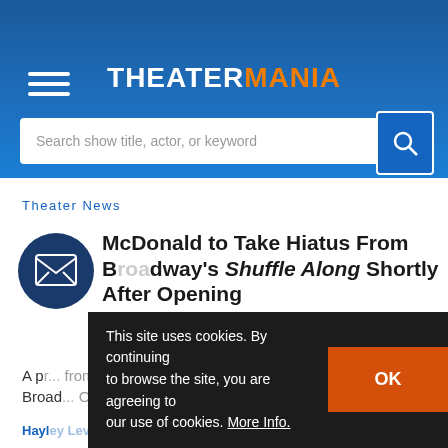[Figure (screenshot): TheaterMania website header with blue gradient background, hamburger menu icon, TheaterMania logo in white and orange, and search bar]
Theater News
Audra McDonald to Take Hiatus From Broadway's Shuffle Along Shortly After Opening
A pr... from the Broadway... October of 2016...
Hayley Levitt | Broadway | September 15, 2015
This site uses cookies. By continuing to browse the site, you are agreeing to our use of cookies. More Info.